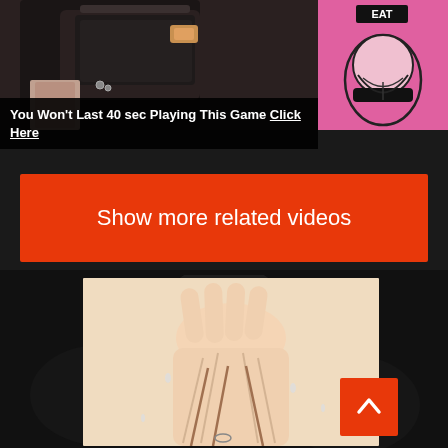[Figure (photo): Advertisement banner showing two images side by side: left side shows a cropped photo of a person with black bag/accessories, right side shows a pink background with cartoon illustration and text 'EAT']
You Won't Last 40 sec Playing This Game Click Here
Show more related videos
[Figure (illustration): Anime/cartoon style illustration showing hands with dark background context, video thumbnail]